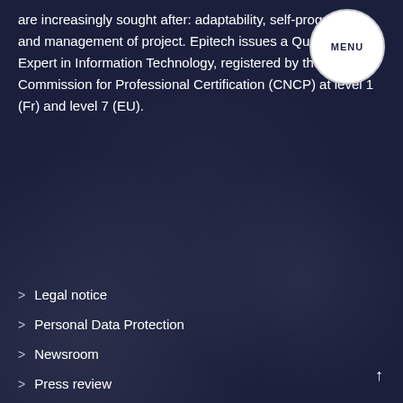are increasingly sought after: adaptability, self-progression and management of project. Epitech issues a Qualification of Expert in Information Technology, registered by the National Commission for Professional Certification (CNCP) at level 1 (Fr) and level 7 (EU).
> Legal notice
> Personal Data Protection
> Newsroom
> Press review
> Cookies Policy